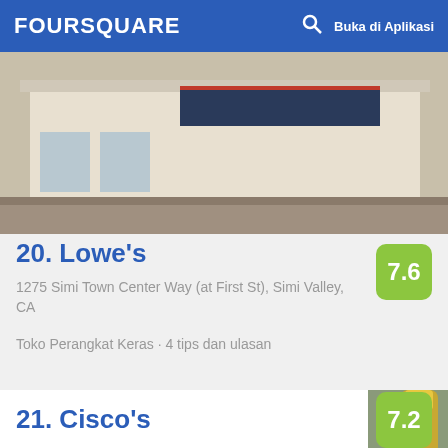FOURSQUARE  Buka di Aplikasi
[Figure (photo): Photo of Lowe's store exterior showing building facade]
20. Lowe's
1275 Simi Town Center Way (at First St), Simi Valley, CA
Toko Perangkat Keras · 4 tips dan ulasan
[Figure (photo): Photo of drinks and chips at Cisco's restaurant - Corona beer, margarita glass with straw, tortilla chips on table]
21. Cisco's